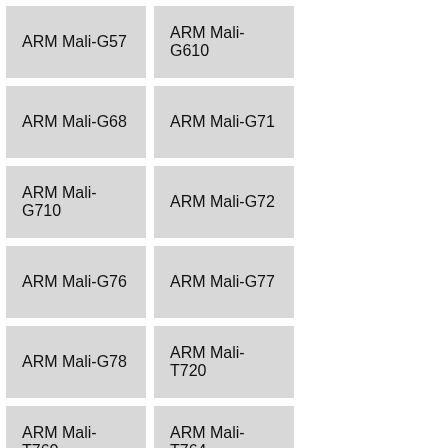ARM Mali-G57
ARM Mali-G610
ARM Mali-G68
ARM Mali-G71
ARM Mali-G710
ARM Mali-G72
ARM Mali-G76
ARM Mali-G77
ARM Mali-G78
ARM Mali-T720
ARM Mali-T760
ARM Mali-T764
ARM Mali-T820
ARM Mali-T830
ARM Mali-T860
ARM Mali-T880
Asus